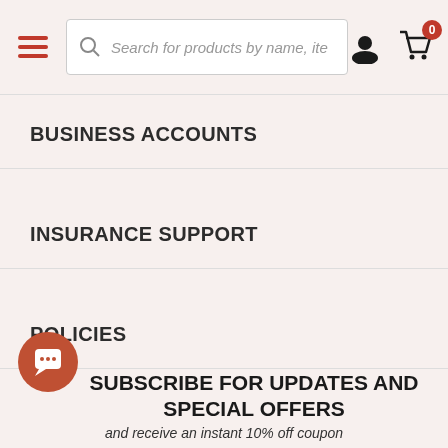Search for products by name, ite
BUSINESS ACCOUNTS
INSURANCE SUPPORT
POLICIES
SUBSCRIBE FOR UPDATES AND SPECIAL OFFERS
and receive an instant 10% off coupon